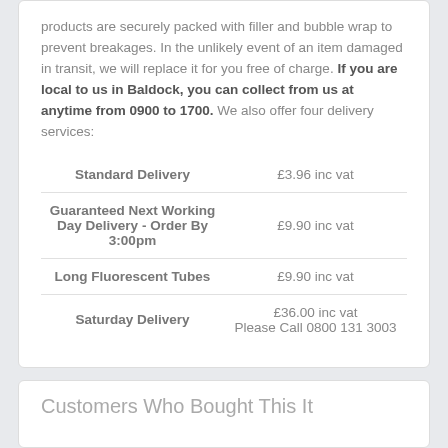products are securely packed with filler and bubble wrap to prevent breakages. In the unlikely event of an item damaged in transit, we will replace it for you free of charge. If you are local to us in Baldock, you can collect from us at anytime from 0900 to 1700. We also offer four delivery services:
| Service | Price |
| --- | --- |
| Standard Delivery | £3.96 inc vat |
| Guaranteed Next Working Day Delivery - Order By 3:00pm | £9.90 inc vat |
| Long Fluorescent Tubes | £9.90 inc vat |
| Saturday Delivery | £36.00 inc vat
Please Call 0800 131 3003 |
Customers Who Bought This It...